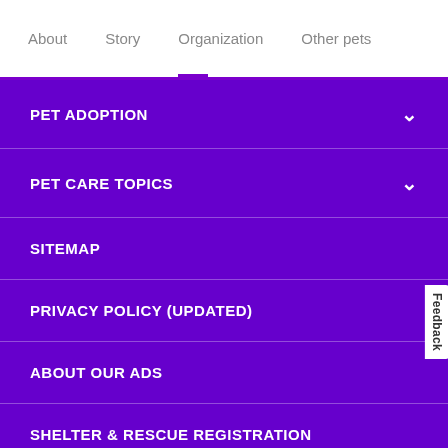About   Story   Organization   Other pets
PET ADOPTION
PET CARE TOPICS
SITEMAP
PRIVACY POLICY (UPDATED)
ABOUT OUR ADS
SHELTER & RESCUE REGISTRATION
DO NOT SELL MY PERSONAL INFORMATION